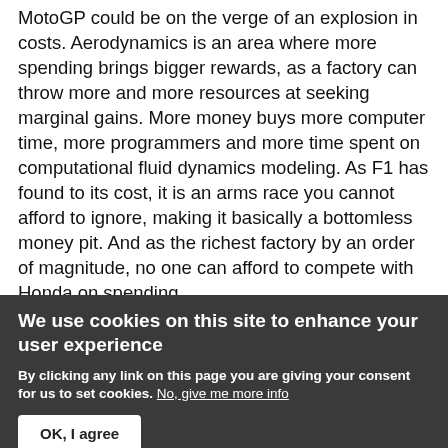MotoGP could be on the verge of an explosion in costs. Aerodynamics is an area where more spending brings bigger rewards, as a factory can throw more and more resources at seeking marginal gains. More money buys more computer time, more programmers and more time spent on computational fluid dynamics modeling. As F1 has found to its cost, it is an arms race you cannot afford to ignore, making it basically a bottomless money pit. And as the richest factory by an order of magnitude, no one can afford to compete with Honda on spending.
Whether they will be banned remains to be seen. Sentiment among some of those involved in rule making is that it is good to see MotoGP operating so...
We use cookies on this site to enhance your user experience
By clicking any link on this page you are giving your consent for us to set cookies. No, give me more info
OK, I agree